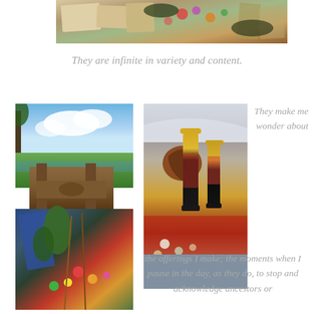[Figure (photo): Top photo showing colorful Balinese offerings with flowers and woven palm leaves on a dark surface]
They are infinite in variety and content.
[Figure (photo): Left tall photo: top half shows a wooden shrine structure overlooking green rice paddies under blue sky; bottom half shows colorful flower offerings on steps]
[Figure (photo): Center photo showing bottles of sauce/condiments with yellow caps on a table with floral decorations]
They make me wonder about the offerings I make; the moments when I pause in the day, as they do, to stop and acknowledge ancestors or